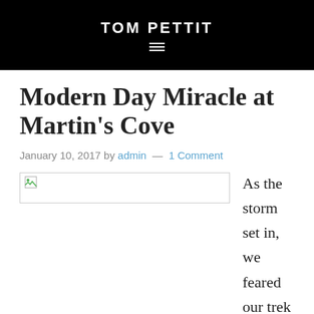TOM PETTIT
Modern Day Miracle at Martin’s Cove
January 10, 2017 by admin — 1 Comment
[Figure (photo): Broken image placeholder (image failed to load)]
As the storm set in, we feared our trek